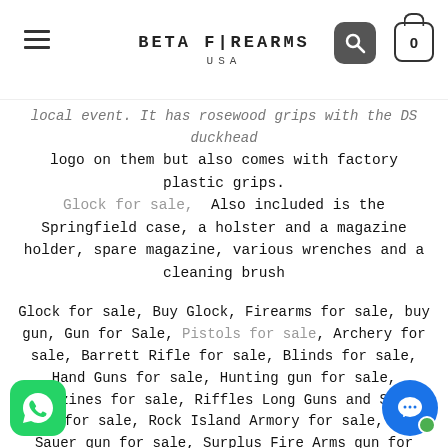BETA FIREARMS USA
local event. It has rosewood grips with the DS duckhead logo on them but also comes with factory plastic grips. Glock for sale,  Also included is the Springfield case, a holster and a magazine holder, spare magazine, various wrenches and a cleaning brush
Glock for sale, Buy Glock, Firearms for sale, buy gun, Gun for Sale, Pistols for sale, Archery for sale, Barrett Rifle for sale, Blinds for sale, Hand Guns for sale, Hunting gun for sale, Magazines for sale, Riffles Long Guns and Short Guns for sale, Rock Island Armory for sale,  Sig Sauer gun for sale, Surplus Fire Arms gun for sale, Taurus gun for sale, sks for sale, p90 for sale, mosin nagant for sale, wasr 10 for sale, ak47 for sale, sks rifle for sale, nagant revolver for sale, mosin db for sale, mac 10 for sale, chinese sks for sale, glock 17l for sale, glock 45 for sale, glock 41 for sale, glock 20 for